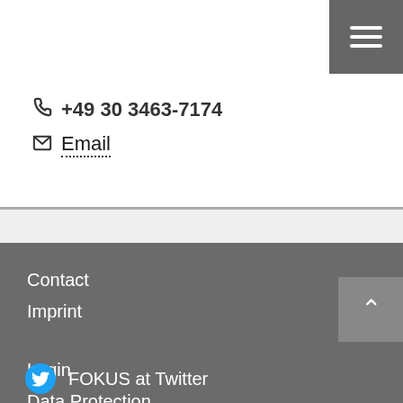[Figure (other): Hamburger menu button (three horizontal white lines on dark gray background), top right corner]
+49 30 3463-7174
Email
Contact
Imprint
Login
Data Protection
Fraunhofer-Gesellschaft
FOKUS at Twitter